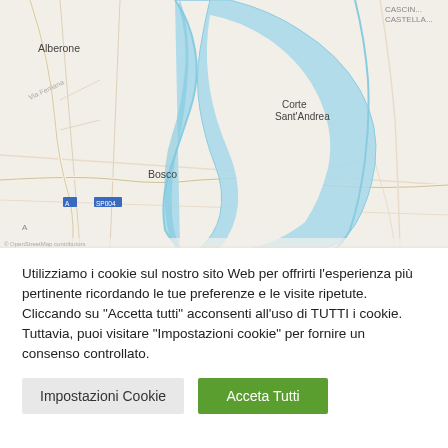[Figure (map): OpenStreetMap showing a river (Po) with a large meander loop near the towns of Alberone, Bosco, and Corte Sant'Andrea in northern Italy. The map has a light beige/grey background with blue river bodies, road networks, and place name labels.]
Utilizziamo i cookie sul nostro sito Web per offrirti l'esperienza più pertinente ricordando le tue preferenze e le visite ripetute. Cliccando su "Accetta tutti" acconsenti all'uso di TUTTI i cookie. Tuttavia, puoi visitare "Impostazioni cookie" per fornire un consenso controllato.